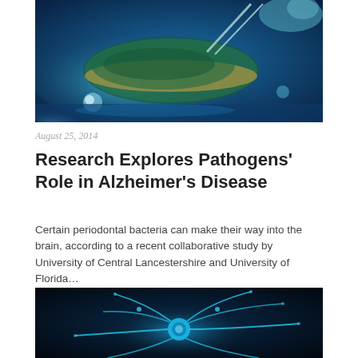[Figure (photo): Close-up of a laboratory petri dish or slide being handled with tweezers, illuminated with blue light, scientific lab setting]
August 25, 2014
Research Explores Pathogens' Role in Alzheimer's Disease
Certain periodontal bacteria can make their way into the brain, according to a recent collaborative study by University of Central Lancestershire and University of Florida…
[Figure (photo): Digital illustration of a neuron with glowing blue dendrites and axons against a dark background]